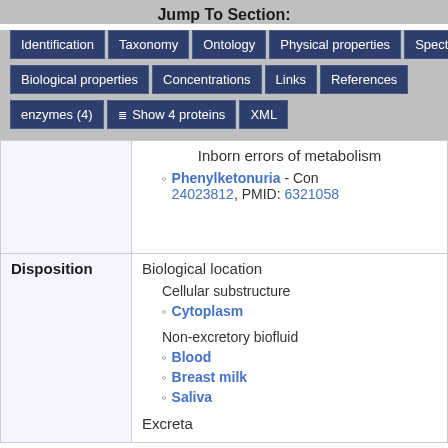Jump To Section:
Identification | Taxonomy | Ontology | Physical properties | Spectra
Biological properties | Concentrations | Links | References
enzymes (4) | Show 4 proteins | XML
|  |  |
| --- | --- |
|  | Inborn errors of metabolism
• Phenylketonuria - Con... 24023812, PMID: 6321058... |
| Disposition | Biological location
  Cellular substructure
    • Cytoplasm
  Non-excretory biofluid
    • Blood
    • Breast milk
    • Saliva
  Excreta |